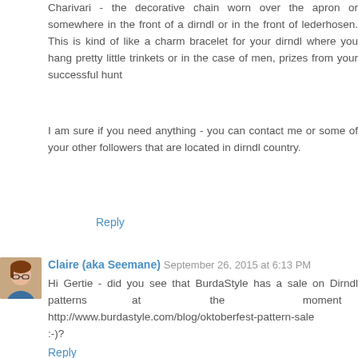Charivari - the decorative chain worn over the apron or somewhere in the front of a dirndl or in the front of lederhosen. This is kind of like a charm bracelet for your dirndl where you hang pretty little trinkets or in the case of men, prizes from your successful hunt
I am sure if you need anything - you can contact me or some of your other followers that are located in dirndl country.
Reply
Claire (aka Seemane) September 26, 2015 at 6:13 PM
Hi Gertie - did you see that BurdaStyle has a sale on Dirndl patterns at the moment http://www.burdastyle.com/blog/oktoberfest-pattern-sale :-)?
Reply